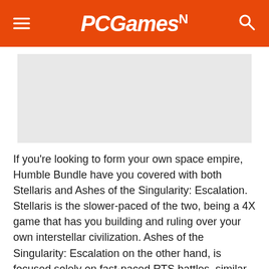PCGamesN
[Figure (photo): Light gray placeholder image area for article content]
If you're looking to form your own space empire, Humble Bundle have you covered with both Stellaris and Ashes of the Singularity: Escalation. Stellaris is the slower-paced of the two, being a 4X game that has you building and ruling over your own interstellar civilization. Ashes of the Singularity: Escalation on the other hand, is focused solely on fast-paced RTS battles, similar to something like StarCraft. Both are critically acclaimed and should keep your skills in check for your eventual conquest of the Solar